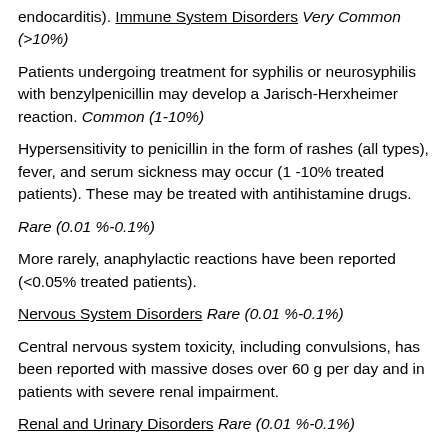endocarditis). Immune System Disorders Very Common (>10%)
Patients undergoing treatment for syphilis or neurosyphilis with benzylpenicillin may develop a Jarisch-Herxheimer reaction. Common (1-10%)
Hypersensitivity to penicillin in the form of rashes (all types), fever, and serum sickness may occur (1 -10% treated patients). These may be treated with antihistamine drugs.
Rare (0.01 %-0.1%)
More rarely, anaphylactic reactions have been reported (<0.05% treated patients).
Nervous System Disorders Rare (0.01 %-0.1%)
Central nervous system toxicity, including convulsions, has been reported with massive doses over 60 g per day and in patients with severe renal impairment.
Renal and Urinary Disorders Rare (0.01 %-0.1%)
Interstitial nephritis has been reported after intravenous